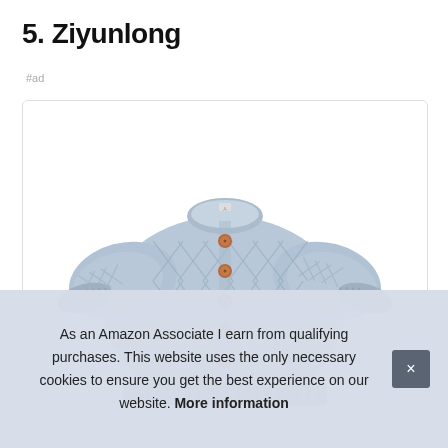5. Ziyunlong
#ad
[Figure (photo): A light blue/grey cable-knit baby cardigan sweater with round neck and brown buttons, displayed flat against a white background inside a bordered product card.]
As an Amazon Associate I earn from qualifying purchases. This website uses the only necessary cookies to ensure you get the best experience on our website. More information